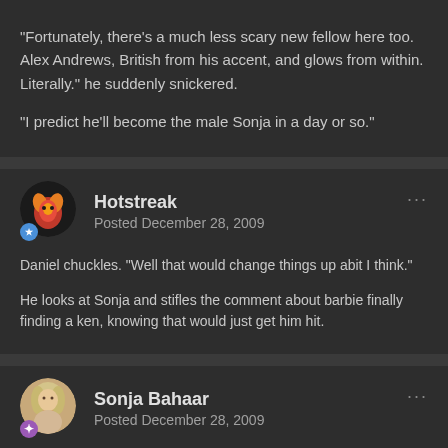"Fortunately, there's a much less scary new fellow here too. Alex Andrews, British from his accent, and glows from within. Literally." he suddenly snickered.

"I predict he'll become the male Sonja in a day or so."
Hotstreak
Posted December 28, 2009
Daniel chuckles. "Well that would change things up abit I think."

He looks at Sonja and stifles the comment about barbie finally finding a ken, knowing that would just get him hit.
Sonja Bahaar
Posted December 28, 2009
Sonja scrunched up her nose in annoyance at Curtis and Daniel, knowing exactly what they were thinking. She stuck her tongue